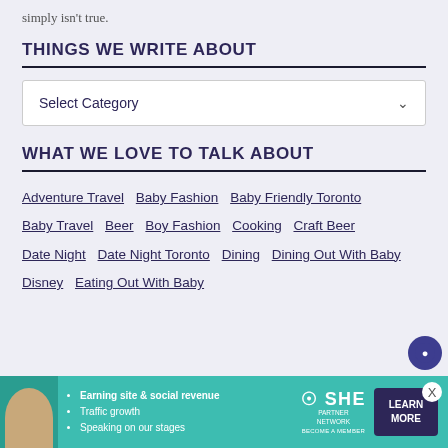simply isn't true.
THINGS WE WRITE ABOUT
Select Category
WHAT WE LOVE TO TALK ABOUT
Adventure Travel
Baby Fashion
Baby Friendly Toronto
Baby Travel
Beer
Boy Fashion
Cooking
Craft Beer
Date Night
Date Night Toronto
Dining
Dining Out With Baby
Disney
Eating Out With Baby
[Figure (infographic): SHE Partner Network ad banner with woman photo, bullet points: Earning site & social revenue, Traffic growth, Speaking on our stages, SHE PARTNER NETWORK BECOME A MEMBER logo, and LEARN MORE button]